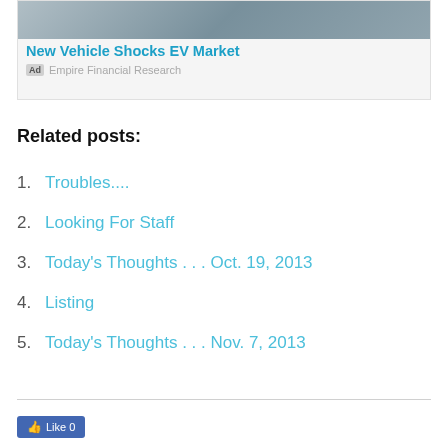[Figure (photo): Advertisement block with image showing vehicle/EV related content, title 'New Vehicle Shocks EV Market', sponsored by Empire Financial Research]
Related posts:
1. Troubles....
2. Looking For Staff
3. Today's Thoughts . . . Oct. 19, 2013
4. Listing
5. Today's Thoughts . . . Nov. 7, 2013